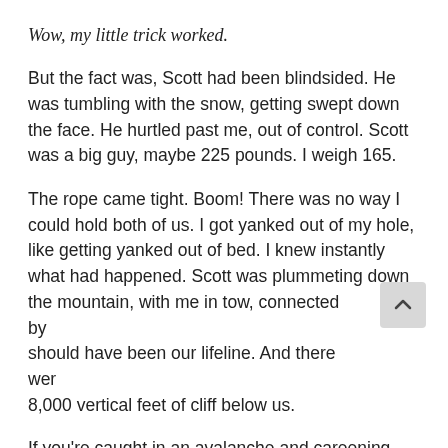Wow, my little trick worked.
But the fact was, Scott had been blindsided. He was tumbling with the snow, getting swept down the face. He hurtled past me, out of control. Scott was a big guy, maybe 225 pounds. I weigh 165.
The rope came tight. Boom! There was no way I could hold both of us. I got yanked out of my hole, like getting yanked out of bed. I knew instantly what had happened. Scott was plummeting down the mountain, with me in tow, connected by should have been our lifeline. And there wer 8,000 vertical feet of cliff below us.
If you're caught in an avalanche and careening down the slope, there are several ways of trying to save yourself. One of the ways is called a self-arrest. The idea is to stop your...